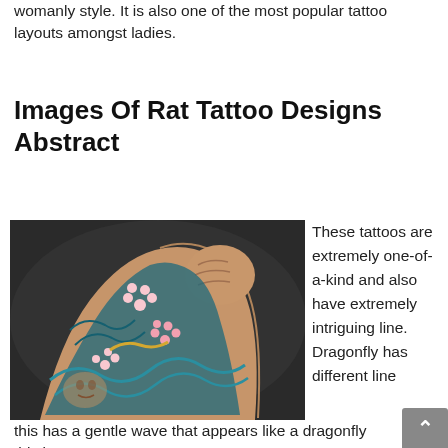womanly style. It is also one of the most popular tattoo layouts amongst ladies.
Images Of Rat Tattoo Designs Abstract
[Figure (photo): A tattooed arm raised in a fist, showing detailed Japanese-style tattoo sleeve with snake, cherry blossoms, and traditional motifs in blue, white, and gold tones on a dark background.]
These tattoos are extremely one-of-a-kind and also have extremely intriguing line. Dragonfly has different line
this has a gentle wave that appears like a dragonfly this is